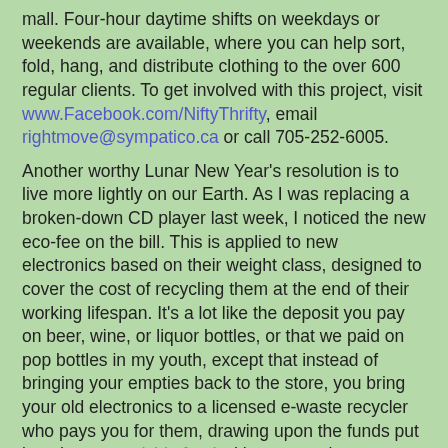mall. Four-hour daytime shifts on weekdays or weekends are available, where you can help sort, fold, hang, and distribute clothing to the over 600 regular clients. To get involved with this project, visit www.Facebook.com/NiftyThrifty, email rightmove@sympatico.ca or call 705-252-6005.
Another worthy Lunar New Year's resolution is to live more lightly on our Earth. As I was replacing a broken-down CD player last week, I noticed the new eco-fee on the bill. This is applied to new electronics based on their weight class, designed to cover the cost of recycling them at the end of their working lifespan. It's a lot like the deposit you pay on beer, wine, or liquor bottles, or that we paid on pop bottles in my youth, except that instead of bringing your empties back to the store, you bring your old electronics to a licensed e-waste recycler who pays you for them, drawing upon the funds put into the stewardship fund with new purchases.
To make this process easier for you, we are excited to be hosting our 5th annual Earth Hour Super-Drive on March 29th in support of Off the Rack Barrie Free Clothing Centre